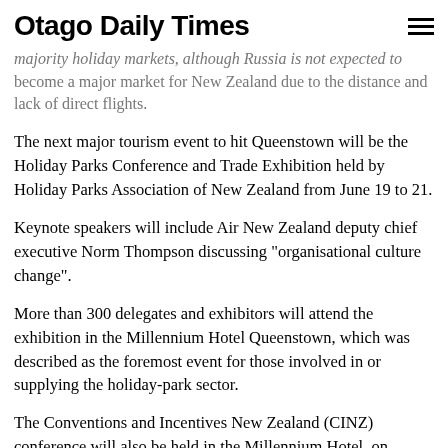Otago Daily Times
majority holiday markets, although Russia is not expected to become a major market for New Zealand due to the distance and lack of direct flights.
The next major tourism event to hit Queenstown will be the Holiday Parks Conference and Trade Exhibition held by Holiday Parks Association of New Zealand from June 19 to 21.
Keynote speakers will include Air New Zealand deputy chief executive Norm Thompson discussing "organisational culture change".
More than 300 delegates and exhibitors will attend the exhibition in the Millennium Hotel Queenstown, which was described as the foremost event for those involved in or supplying the holiday-park sector.
The Conventions and Incentives New Zealand (CINZ) conference will also be held in the Millennium Hotel, on November 7 and 8.
Up to 180 industry representatives from around the country were expected to participate in what was considered to be